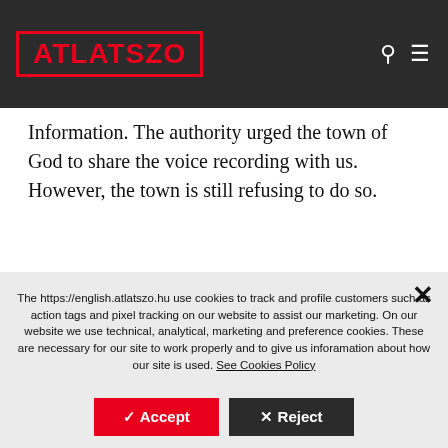ATLATSZO
Information. The authority urged the town of God to share the voice recording with us. However, the town is still refusing to do so.
The https://english.atlatszo.hu use cookies to track and profile customers such as action tags and pixel tracking on our website to assist our marketing. On our website we use technical, analytical, marketing and preference cookies. These are necessary for our site to work properly and to give us inforamation about how our site is used. See Cookies Policy